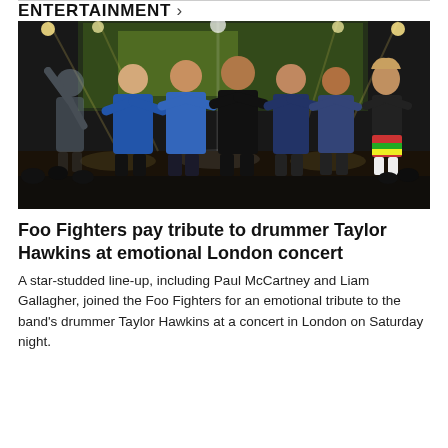ENTERTAINMENT >
[Figure (photo): Band members standing arm-in-arm on a concert stage with dramatic lighting and a large LED screen backdrop. Seven people on stage taking a bow together in front of a large concert crowd.]
Foo Fighters pay tribute to drummer Taylor Hawkins at emotional London concert
A star-studded line-up, including Paul McCartney and Liam Gallagher, joined the Foo Fighters for an emotional tribute to the band's drummer Taylor Hawkins at a concert in London on Saturday night.